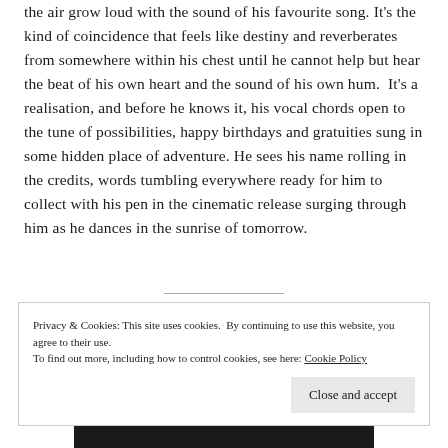the air grow loud with the sound of his favourite song. It's the kind of coincidence that feels like destiny and reverberates from somewhere within his chest until he cannot help but hear the beat of his own heart and the sound of his own hum.  It's a realisation, and before he knows it, his vocal chords open to the tune of possibilities, happy birthdays and gratuities sung in some hidden place of adventure. He sees his name rolling in the credits, words tumbling everywhere ready for him to collect with his pen in the cinematic release surging through him as he dances in the sunrise of tomorrow.
Privacy & Cookies: This site uses cookies. By continuing to use this website, you agree to their use.
To find out more, including how to control cookies, see here: Cookie Policy